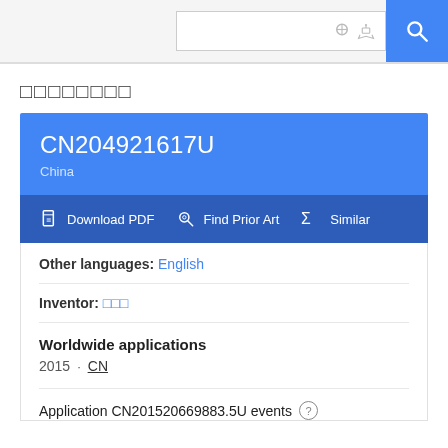Search bar with icons and search button
□□□□□□□□
CN204921617U
China
Download PDF  Find Prior Art  Similar
Other languages: English
Inventor: □□□
Worldwide applications
2015 · CN
Application CN201520669883.5U events